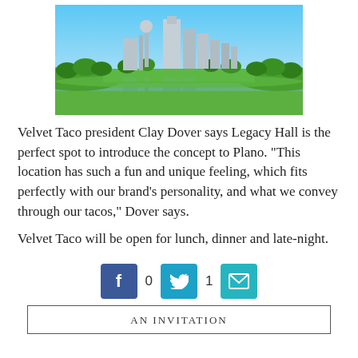[Figure (photo): Dallas city skyline reflected in a lake, with green trees in the foreground and blue sky above.]
Velvet Taco president Clay Dover says Legacy Hall is the perfect spot to introduce the concept to Plano. "This location has such a fun and unique feeling, which fits perfectly with our brand's personality, and what we convey through our tacos," Dover says.
Velvet Taco will be open for lunch, dinner and late-night.
[Figure (infographic): Social sharing buttons: Facebook (0 shares), Twitter (1 share), Email.]
AN INVITATION